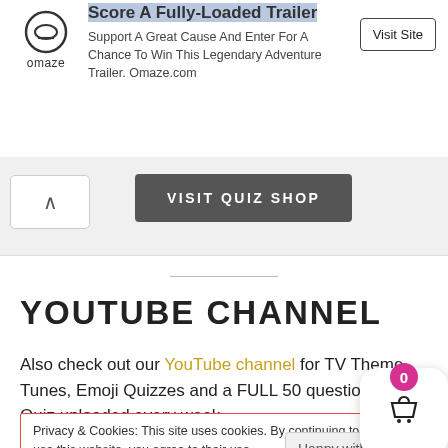[Figure (logo): Omaze logo with circular icon and brand name]
Score A Fully-Loaded Trailer
Support A Great Cause And Enter For A Chance To Win This Legendary Adventure Trailer. Omaze.com
Visit Site
VISIT QUIZ SHOP
YOUTUBE CHANNEL
Also check out our YouTube channel for TV Theme Tunes, Emoji Quizzes and a FULL 50 question Pub Quiz uploaded every week.
Privacy & Cookies: This site uses cookies. By continuing to use this website, you agree to their use.
To find out more, including how to control cookies, see here: Cookie Policy
Happy with t